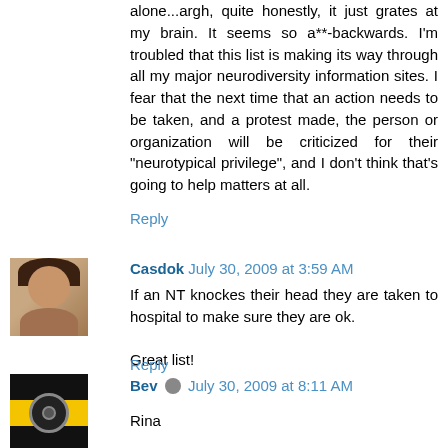alone...argh, quite honestly, it just grates at my brain. It seems so a**-backwards. I'm troubled that this list is making its way through all my major neurodiversity information sites. I fear that the next time that an action needs to be taken, and a protest made, the person or organization will be criticized for their "neurotypical privilege", and I don't think that's going to help matters at all.
Reply
[Figure (photo): Avatar photo of commenter Casdok, showing a person with dark hair]
Casdok  July 30, 2009 at 3:59 AM
If an NT knockes their head they are taken to hospital to make sure they are ok.

Great list!
Reply
[Figure (illustration): Avatar icon for commenter Bev, black and yellow striped with a circle emblem]
Bev  July 30, 2009 at 8:11 AM
Rina